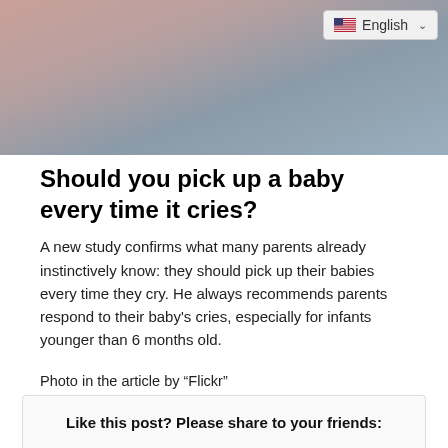[Figure (photo): Close-up photo of a baby, blurred/out of focus, with pinkish and grey tones. A language selector showing 'English' with a US flag is overlaid in the top-right corner.]
Should you pick up a baby every time it cries?
A new study confirms what many parents already instinctively know: they should pick up their babies every time they cry. He always recommends parents respond to their baby's cries, especially for infants younger than 6 months old.
Photo in the article by “Flickr” https://www.flickr.com/photos/cheriejphotos/6154263729
Like this post? Please share to your friends: